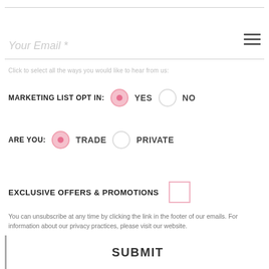Your Email *
Click to select all the ways you would like to hear from us:
MARKETING LIST OPT IN:  ● YES  ○ NO
ARE YOU:  ● TRADE  ○ PRIVATE
EXCLUSIVE OFFERS & PROMOTIONS
You can unsubscribe at any time by clicking the link in the footer of our emails. For information about our privacy practices, please visit our website.
SUBMIT